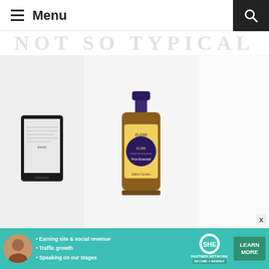≡ Menu
NOT SO TYPICAL
[Figure (photo): Kindle e-reader device, black]
[Figure (photo): Edens Garden ELEMI essential oil amber bottle with yellow label]
[Figure (photo): London city map print with LONDON label below]
[Figure (photo): Purple Hydro Flask wide mouth water bottle]
[Figure (photo): The New York Times book cover with large number 3]
[Figure (photo): Teal/mint Chaco sandal with decorative cross-strap pattern]
[Figure (photo): Watercolor paint palette set, open case showing multicolor paint pans]
[Figure (photo): SHE Partner Network advertisement banner with avatar, bullet points, logo and learn more button]